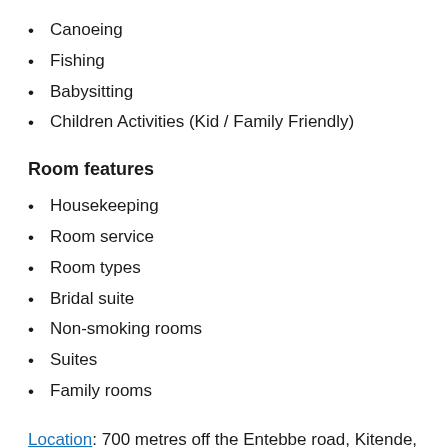Canoeing
Fishing
Babysitting
Children Activities (Kid / Family Friendly)
Room features
Housekeeping
Room service
Room types
Bridal suite
Non-smoking rooms
Suites
Family rooms
Location: 700 metres off the Entebbe road, Kitende, Uganda